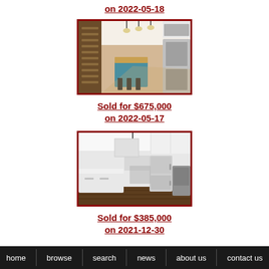on 2022-05-18
[Figure (photo): Interior photo of a kitchen with teal/blue cabinets, wood island countertop, hardwood floors, and stainless steel appliances]
Sold for $675,000
on 2022-05-17
[Figure (photo): Interior photo of a modern kitchen with white cabinets, white island, stainless steel refrigerator, dark wood floors]
Sold for $385,000
on 2021-12-30
home   browse   search   news   about us   contact us